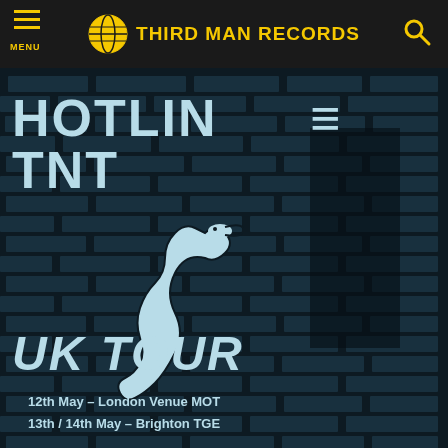THIRD MAN RECORDS
[Figure (illustration): Concert poster for Hotline TNT UK Tour on a dark background with brick wall texture and snake illustration. Text reads: HOTLINE TNT, UK TOUR. Dates: 12th May - London Venue MOT, 13th / 14th May - Brighton TGE]
12th May – London Venue MOT
13th / 14th May – Brighton TGE